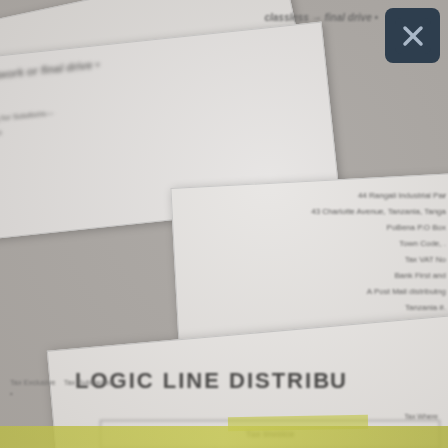[Figure (photo): A blurred photograph of multiple overlapping paper documents including letters, envelopes, and what appears to be a 'Logic Line Distribution' tax invoice form. Documents are arranged at various angles on a gray surface. A dark close button with an X is visible in the top right corner. Yellow highlighter marks are visible at the bottom of some documents.]